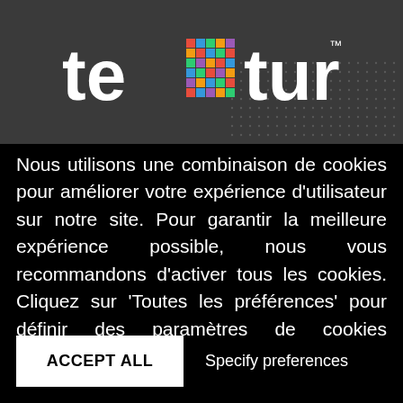[Figure (logo): Texture logo with colorful pixel grid pattern replacing the letter 'x', white text on dark gray background, with dotted pattern in lower right corner]
Nous utilisons une combinaison de cookies pour améliorer votre expérience d'utilisateur sur notre site. Pour garantir la meilleure expérience possible, nous vous recommandons d'activer tous les cookies. Cliquez sur 'Toutes les préférences' pour définir des paramètres de cookies spécifiques.
ACCEPT ALL
Specify preferences